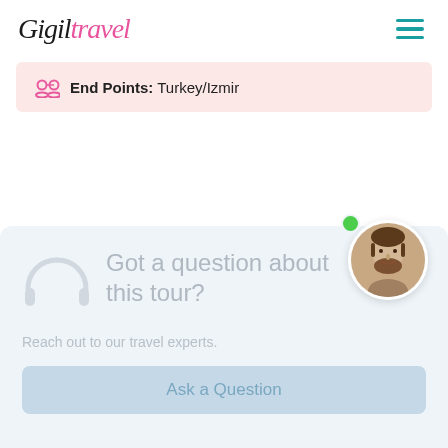Gigil Travel
End Points: Turkey/Izmir
Got a question about this tour?
Reach out to our travel experts.
Ask a Question